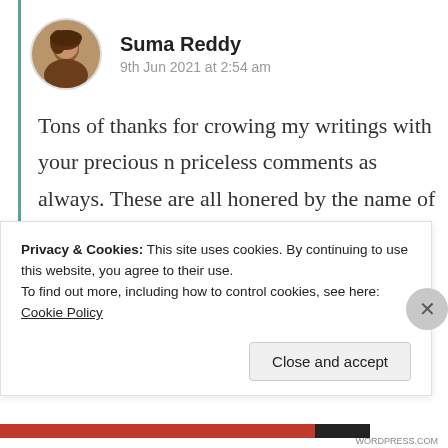[Figure (photo): Circular avatar photo of Suma Reddy]
Suma Reddy
9th Jun 2021 at 2:54 am
Tons of thanks for crowing my writings with your precious n priceless comments as always. These are all honered by the name of Prince called Mr. Van.
★ Liked by 1 person
Privacy & Cookies: This site uses cookies. By continuing to use this website, you agree to their use.
To find out more, including how to control cookies, see here: Cookie Policy
Close and accept